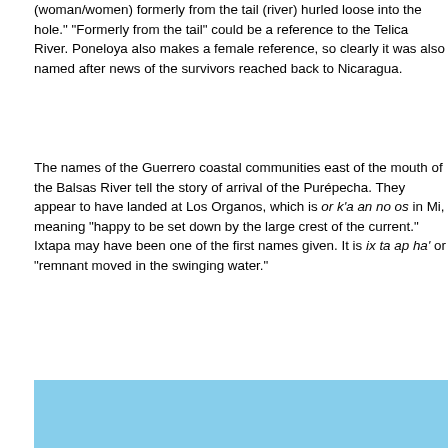(woman/women) formerly from the tail (river) hurled loose into the hole." "Formerly from the tail" could be a reference to the Telica River. Poneloya also makes a female reference, so clearly it was also named after news of the survivors reached back to Nicaragua.
The names of the Guerrero coastal communities east of the mouth of the Balsas River tell the story of arrival of the Purépecha. They appear to have landed at Los Organos, which is or k'a an no os in Mi, meaning "happy to be set down by the large crest of the current." Ixtapa may have been one of the first names given. It is ix ta ap ha' or "remnant moved in the swinging water."
[Figure (photo): Coastal photograph of Ixtapa-Zihuatenejo bay area showing rocky coastline with hills, blue ocean water, and clear sky. Photo credit: Alejandro Linares Garcia (Own work) [GFDL or CC BY-SA-3.0-2.5-2.0-1.0] via Wikimedia Commons.]
Some of the bodies from the Sonsonate Kiche seemed to wash ashore near Los Organos and Ixtapa. East of Los Organos is La Majagua, ma cha wa, meaning "bad beings," seeming to refer to two bodies in the water. They called them bodies because they seemed to recognize them as Kiche' - those responsible for the